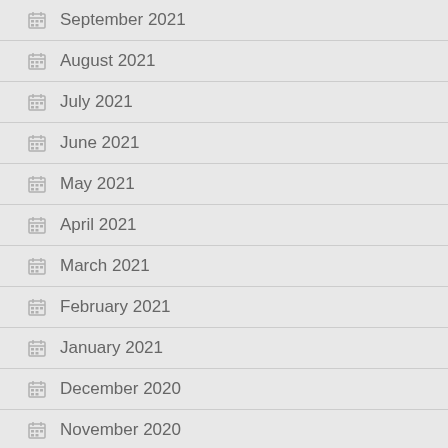September 2021
August 2021
July 2021
June 2021
May 2021
April 2021
March 2021
February 2021
January 2021
December 2020
November 2020